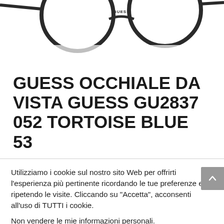[Figure (photo): Partial top view of GUESS eyeglasses frames, showing the top portion of round frames with GUESS logo visible on the bridge, on a white background.]
GUESS OCCHIALE DA VISTA GUESS GU2837 052 TORTOISE BLUE 53
Utilizziamo i cookie sul nostro sito Web per offrirti l'esperienza più pertinente ricordando le tue preferenze e ripetendo le visite. Cliccando su "Accetta", acconsenti all'uso di TUTTI i cookie.
Non vendere le mie informazioni personali.